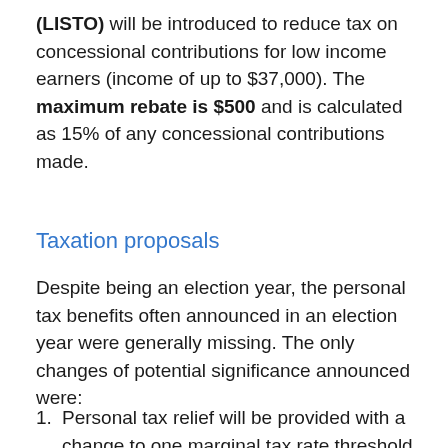(LISTO) will be introduced to reduce tax on concessional contributions for low income earners (income of up to $37,000). The maximum rebate is $500 and is calculated as 15% of any concessional contributions made.
Taxation proposals
Despite being an election year, the personal tax benefits often announced in an election year were generally missing. The only changes of potential significance announced were:
Personal tax relief will be provided with a change to one marginal tax rate threshold from